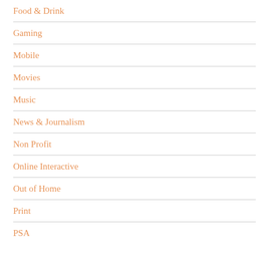Food & Drink
Gaming
Mobile
Movies
Music
News & Journalism
Non Profit
Online Interactive
Out of Home
Print
PSA